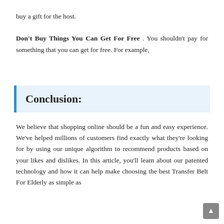buy a gift for the host.
Don't Buy Things You Can Get For Free . You shouldn't pay for something that you can get for free. For example,
Conclusion:
We believe that shopping online should be a fun and easy experience. We've helped millions of customers find exactly what they're looking for by using our unique algorithm to recommend products based on your likes and dislikes. In this article, you'll learn about our patented technology and how it can help make choosing the best Transfer Belt For Elderly as simple as